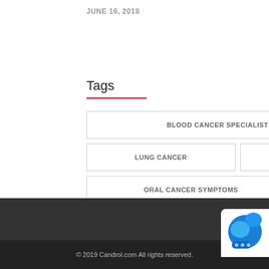JUNE 16, 2018
Tags
BLOOD CANCER SPECIALIST IN INDIA
LUNG CANCER
NATURAL TREATMENT
ORAL CANCER SYMPTOMS
PREVENTIONS
© 2019 Candrol.com All rights reserved.